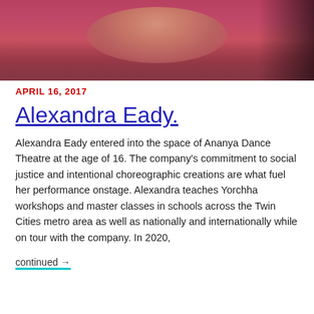[Figure (photo): Cropped photo of a person wearing a magenta/pink top, showing neck and lower face area, dark hair visible on right side.]
APRIL 16, 2017
Alexandra Eady
Alexandra Eady entered into the space of Ananya Dance Theatre at the age of 16. The company's commitment to social justice and intentional choreographic creations are what fuel her performance onstage. Alexandra teaches Yorchha workshops and master classes in schools across the Twin Cities metro area as well as nationally and internationally while on tour with the company. In 2020,
continued →